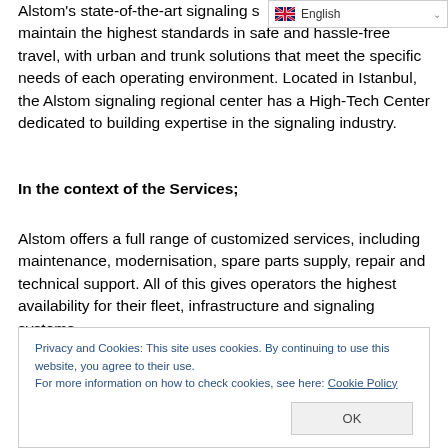[Figure (screenshot): Language selector dropdown showing English with a US/UK flag icon and a chevron arrow]
Alstom's state-of-the-art signaling s[ystems help operators] to maintain the highest standards in safe and hassle-free travel, with urban and trunk solutions that meet the specific needs of each operating environment. Located in Istanbul, the Alstom signaling regional center has a High-Tech Center dedicated to building expertise in the signaling industry.
In the context of the Services;
Alstom offers a full range of customized services, including maintenance, modernisation, spare parts supply, repair and technical support. All of this gives operators the highest availability for their fleet, infrastructure and signaling systems.
Privacy and Cookies: This site uses cookies. By continuing to use this website, you agree to their use.
For more information on how to check cookies, see here: Cookie Policy
OK